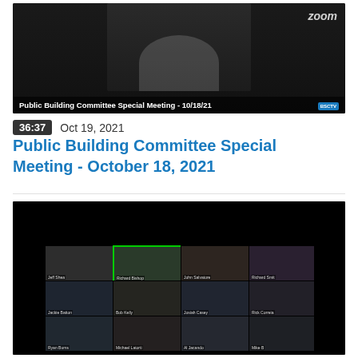[Figure (screenshot): Zoom video screenshot showing a man in a black jacket and white shirt against a bookshelf background. Text overlay at bottom reads 'Public Building Committee Special Meeting - 10/18/21'. Zoom logo visible in top right.]
36:37   Oct 19, 2021
Public Building Committee Special Meeting - October 18, 2021
[Figure (screenshot): Zoom meeting grid view showing multiple participants: Jeff Shea, Richard Bishop (highlighted in green), John Salvatore, Richard Smit, Jackie Batton, Bob Kelly, Josiah Casey, Rick Correia, Ryan Burns, Michael Latorti, Al Jacando, Mike B, and others in a grid layout.]